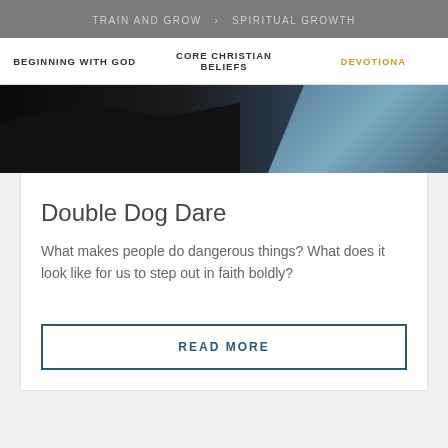TRAIN AND GROW > SPIRITUAL GROWTH
BEGINNING WITH GOD | CORE CHRISTIAN BELIEFS | DEVOTIONA
[Figure (photo): Dark silhouette of rocky cliffside against a blue-grey water/sky background]
Double Dog Dare
What makes people do dangerous things? What does it look like for us to step out in faith boldly?
READ MORE